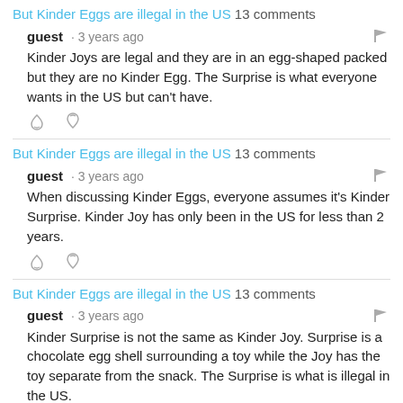But Kinder Eggs are illegal in the US 13 comments
guest · 3 years ago
Kinder Joys are legal and they are in an egg-shaped packed but they are no Kinder Egg. The Surprise is what everyone wants in the US but can't have.
But Kinder Eggs are illegal in the US 13 comments
guest · 3 years ago
When discussing Kinder Eggs, everyone assumes it's Kinder Surprise. Kinder Joy has only been in the US for less than 2 years.
But Kinder Eggs are illegal in the US 13 comments
guest · 3 years ago
Kinder Surprise is not the same as Kinder Joy. Surprise is a chocolate egg shell surrounding a toy while the Joy has the toy separate from the snack. The Surprise is what is illegal in the US.